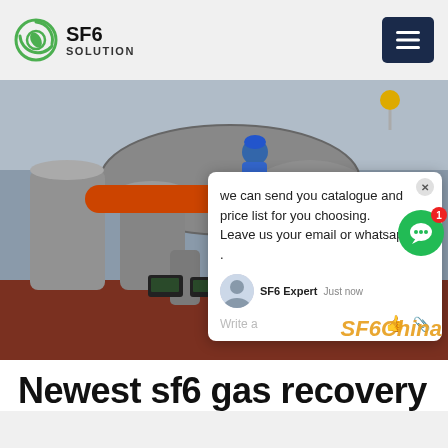SF6 SOLUTION
[Figure (photo): Two workers in blue coveralls and hard hats servicing large SF6 gas equipment/transformers in an industrial facility. One worker is on top of the equipment, another is below. Overlaid with a live chat popup and SF6China watermark.]
Newest sf6 gas recovery